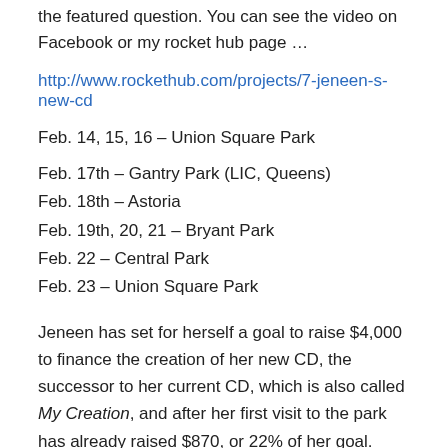the featured question. You can see the video on Facebook or my rocket hub page …
http://www.rockethub.com/projects/7-jeneen-s-new-cd
Feb. 14, 15, 16 – Union Square Park
Feb. 17th – Gantry Park (LIC, Queens)
Feb. 18th – Astoria
Feb. 19th, 20, 21 – Bryant Park
Feb. 22 – Central Park
Feb. 23 – Union Square Park
Jeneen has set for herself a goal to raise $4,000 to finance the creation of her new CD, the successor to her current CD, which is also called My Creation, and after her first visit to the park has already raised $870, or 22% of her goal.